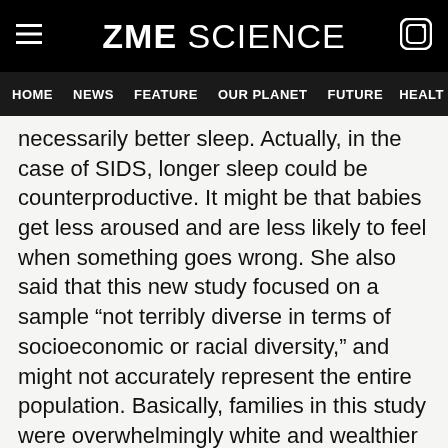ZME SCIENCE
HOME  NEWS  FEATURE  OUR PLANET  FUTURE  HEALT
necessarily better sleep. Actually, in the case of SIDS, longer sleep could be counterproductive. It might be that babies get less aroused and are less likely to feel when something goes wrong. She also said that this new study focused on a sample “not terribly diverse in terms of socioeconomic or racial diversity,” and might not accurately represent the entire population. Basically, families in this study were overwhelmingly white and wealthier than the average American.
ADVERTISEMENT